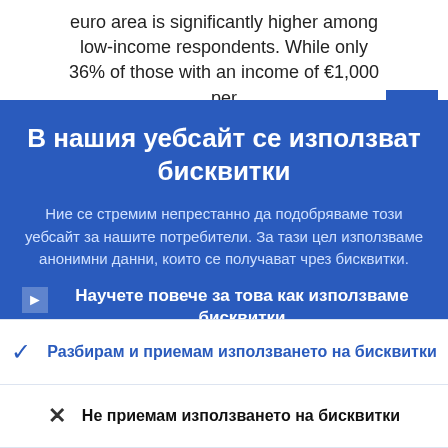euro area is significantly higher among low-income respondents. While only 36% of those with an income of €1,000 per
В нашия уебсайт се използват бисквитки
Ние се стремим непрестанно да подобряваме този уебсайт за нашите потребители. За тази цел използваме анонимни данни, които се получават чрез бисквитки.
Научете повече за това как използваме бисквитки
Разбирам и приемам използването на бисквитки
Не приемам използването на бисквитки